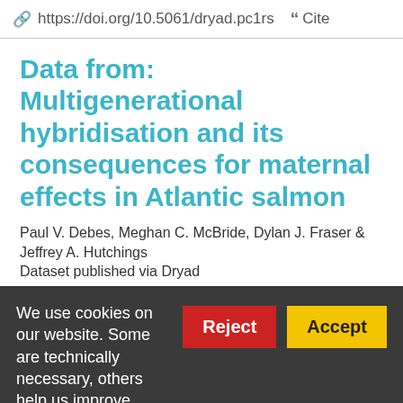https://doi.org/10.5061/dryad.pc1rs  Cite
Data from: Multigenerational hybridisation and its consequences for maternal effects in Atlantic salmon
Paul V. Debes, Meghan C. McBride, Dylan J. Fraser & Jeffrey A. Hutchings
Dataset published via Dryad
Outbreeding between segregating populations can be important from an evolutionary, conservation, and economical- agricultural perspective. Whether and how outbreeding influences maternal effects in wild populations has rarely been studied, despite both the
We use cookies on our website. Some are technically necessary, others help us improve your experience.